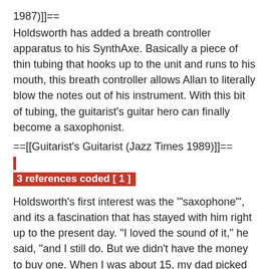1987)]]==
Holdsworth has added a breath controller apparatus to his SynthAxe. Basically a piece of thin tubing that hooks up to the unit and runs to his mouth, this breath controller allows Allan to literally blow the notes out of his instrument. With this bit of tubing, the guitarist's guitar hero can finally become a saxophonist.
==[[Guitarist's Guitarist (Jazz Times 1989)]]==
3 references coded [ 1 ]
Holdsworth's first interest was the '"saxophone"', and its a fascination that has stayed with him right up to the present day. "I loved the sound of it," he said, "and I still do. But we didn't have the money to buy one. When I was about 15, my dad picked up an acoustic guitar from an uncle and just left it laying around. At first, I didn't pay any attention to it. at all. But after it'd been around for a couple of years, I started noodling around on it. When my father saw there was some interest, he started to help me out with chords and stuff. He was such a fantastic natural teacher that he understood the guitar, even